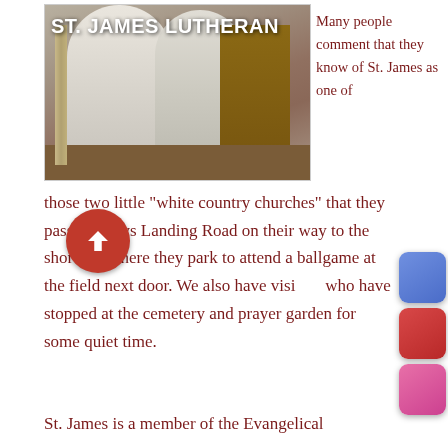[Figure (photo): Interior of St. James Lutheran church showing two figures in white robes/vestments standing near a wooden lectern/pulpit, with church pews visible. White text overlay reads 'ST. JAMES LUTHERAN'.]
Many people comment that they know of St. James as one of those two little “white country churches” that they pass on Mays Landing Road on their way to the shore; or where they park to attend a ballgame at the field next door.  We also have visitors who have stopped at the cemetery and prayer garden for some quiet time.
St. James is a member of the Evangelical